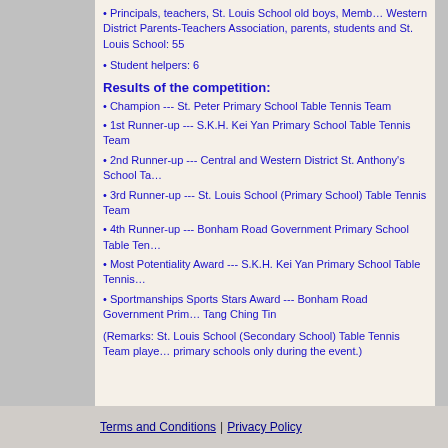Principals, teachers, St. Louis School old boys, Members of Central and Western District Parents-Teachers Association, parents, students and St. Louis School: 55
Student helpers: 6
Results of the competition:
Champion --- St. Peter Primary School Table Tennis Team
1st Runner-up --- S.K.H. Kei Yan Primary School Table Tennis Team
2nd Runner-up --- Central and Western District St. Anthony's School Table Tennis Team
3rd Runner-up --- St. Louis School (Primary School) Table Tennis Team
4th Runner-up --- Bonham Road Government Primary School Table Tennis Team
Most Potentiality Award --- S.K.H. Kei Yan Primary School Table Tennis Team
Sportmanships Sports Stars Award --- Bonham Road Government Primary School Table Tennis Team Tang Ching Tin
(Remarks: St. Louis School (Secondary School) Table Tennis Team played against the primary schools only during the event.)
Terms and Conditions | Privacy Policy